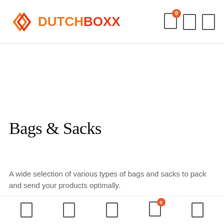DUTCHBOXX
Bags & Sacks
A wide selection of various types of bags and sacks to pack and send your products optimally.
Various types of packaging
Formats are internal (WxLxH) in mm
Bottom navigation bar